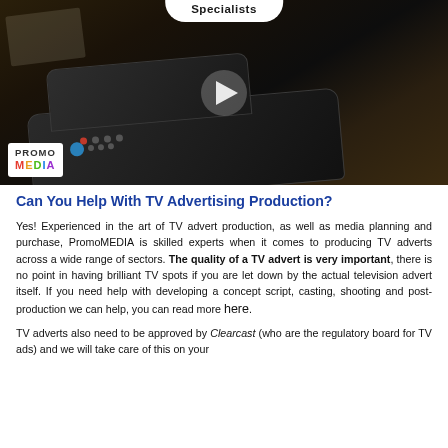[Figure (photo): A dark photo of a TV remote control on a desk, with a play button overlay in the center. A PromoMEDIA logo appears in the bottom-left corner. A white pill-shaped badge at the top shows 'Specialists'.]
Can You Help With TV Advertising Production?
Yes! Experienced in the art of TV advert production, as well as media planning and purchase, PromoMEDIA is skilled experts when it comes to producing TV adverts across a wide range of sectors. The quality of a TV advert is very important, there is no point in having brilliant TV spots if you are let down by the actual television advert itself. If you need help with developing a concept script, casting, shooting and post-production we can help, you can read more here.
TV adverts also need to be approved by Clearcast (who are the regulatory board for TV ads) and we will take care of this on your